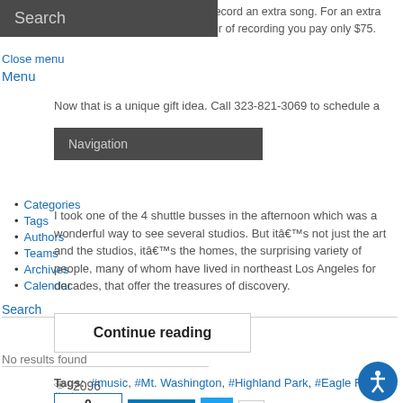Search
Close menu
Menu
…pay … record an extra song. For an extra hour of recording you pay only $75.
Now that is a unique gift idea. Call 323-821-3069 to schedule a
Navigation
Categories
Tags
Authors
Teams
Archives
Calendar
I took one of the 4 shuttle busses in the afternoon which was a wonderful way to see several studios. But itâ€™s not just the art and the studios, itâ€™s the homes, the surprising variety of people, many of whom have lived in northeast Los Angeles for decades, that offer the treasures of discovery.
Search
Continue reading
No results found
👁 2096
Tags: #music, #Mt. Washington, #Highland Park, #Eagle Rock, #art
0 Like  Share  Tweet  0